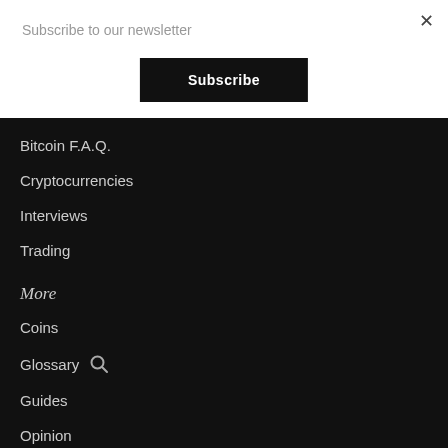Subscribe to our newsletter
×
Subscribe
Bitcoin F.A.Q.
Cryptocurrencies
Interviews
Trading
More
Coins
Glossary
Guides
Opinion